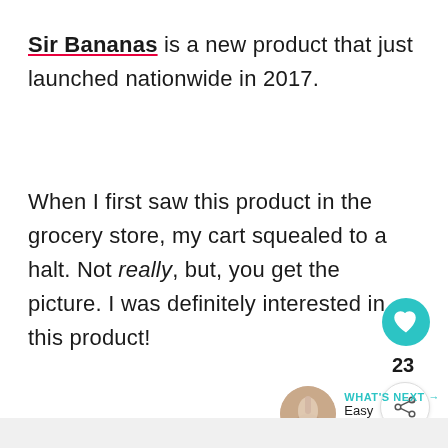Sir Bananas is a new product that just launched nationwide in 2017.
When I first saw this product in the grocery store, my cart squealed to a halt. Not really, but, you get the picture. I was definitely interested in this product!
[Figure (infographic): Teal heart/like button showing 23 likes, and a share button below it in a circular white bordered button]
[Figure (infographic): What's Next navigation element with a circular thumbnail of a strawberry drink, label 'WHAT'S NEXT →' in teal, and text 'Easy Strawberry...']